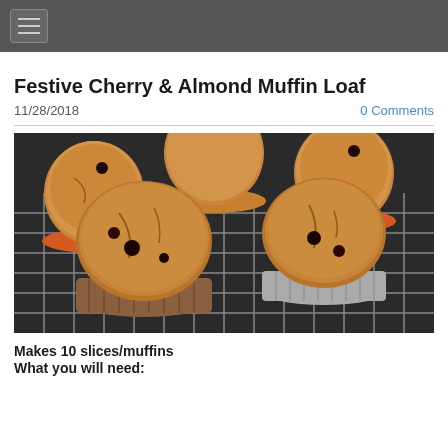≡ (navigation menu)
Festive Cherry & Almond Muffin Loaf
11/28/2018
0 Comments
[Figure (photo): Photograph of several golden-brown muffins in paper liners on a wire cooling rack, with dark cherry pieces visible]
Makes 10 slices/muffins
What you will need: